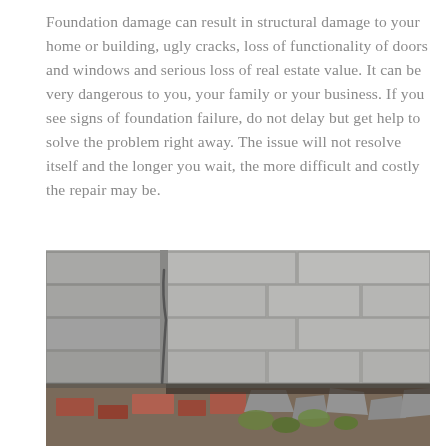Foundation damage can result in structural damage to your home or building, ugly cracks, loss of functionality of doors and windows and serious loss of real estate value. It can be very dangerous to you, your family or your business. If you see signs of foundation failure, do not delay but get help to solve the problem right away. The issue will not resolve itself and the longer you wait, the more difficult and costly the repair may be.
[Figure (photo): Close-up photograph of a concrete block foundation wall showing severe damage at the base — cracks, gaps, and crumbling brick/rubble visible at the bottom corner of the structure.]